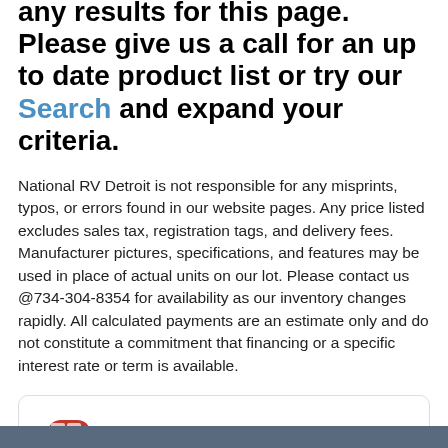any results for this page. Please give us a call for an up to date product list or try our Search and expand your criteria.
National RV Detroit is not responsible for any misprints, typos, or errors found in our website pages. Any price listed excludes sales tax, registration tags, and delivery fees. Manufacturer pictures, specifications, and features may be used in place of actual units on our lot. Please contact us @734-304-8354 for availability as our inventory changes rapidly. All calculated payments are an estimate only and do not constitute a commitment that financing or a specific interest rate or term is available.
[Figure (infographic): Tow Guides promo box with red car and checkmark icon, bold title TOW GUIDES, and red subtitle How much can I tow?]